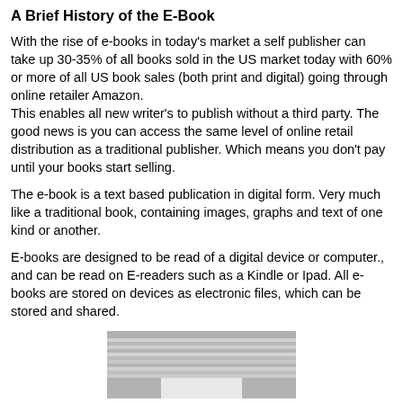A Brief History of the E-Book
With the rise of e-books in today's market a self publisher can take up 30-35% of all books sold in the US market today with 60% or more of all US book sales (both print and digital) going through online retailer Amazon.
This enables all new writer's to publish without a third party. The good news is you can access the same level of online retail distribution as a traditional publisher. Which means you don't pay until your books start selling.
The e-book is a text based publication in digital form. Very much like a traditional book, containing images, graphs and text of one kind or another.
E-books are designed to be read of a digital device or computer., and can be read on E-readers such as a Kindle or Ipad. All e-books are stored on devices as electronic files, which can be stored and shared.
[Figure (photo): A partial image of what appears to be a device screen or printed page, showing a grey textured surface, visible at the bottom of the page.]